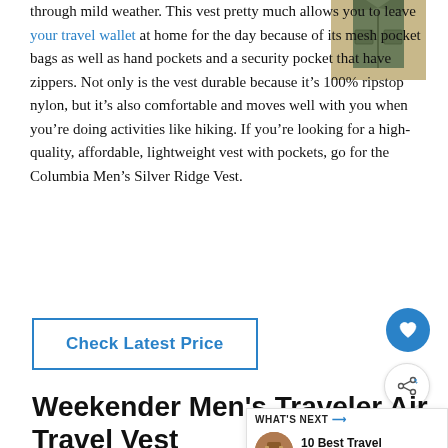through mild weather. This vest pretty much allows you to leave your travel wallet at home for the day because of its mesh pocket bags as well as hand pockets and a security pocket that have zippers. Not only is the vest durable because it's 100% ripstop nylon, but it's also comfortable and moves well with you when you're doing activities like hiking. If you're looking for a high-quality, affordable, lightweight vest with pockets, go for the Columbia Men's Silver Ridge Vest.
[Figure (photo): Product photo of a person wearing an olive/green travel vest (Columbia Men's Silver Ridge Vest), cropped to show torso]
Check Latest Price
Weekender Men's Traveler Air Travel Vest
WHAT'S NEXT → 10 Best Travel Briefcases f...